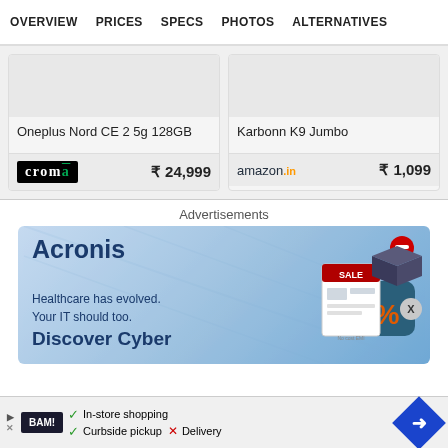OVERVIEW  PRICES  SPECS  PHOTOS  ALTERNATIVES
| Product | Retailer | Price |
| --- | --- | --- |
| Oneplus Nord CE 2 5g 128GB | Croma | ₹ 24,999 |
| Karbonn K9 Jumbo | Amazon.in | ₹ 1,099 |
Advertisements
[Figure (screenshot): Acronis advertisement banner: 'Healthcare has evolved. Your IT should too. Discover Cyber' with blue gradient background and product box illustration]
[Figure (infographic): Bottom banner ad: BAM logo, In-store shopping (checkmark), Curbside pickup (checkmark), Delivery (X), navigation arrow icon]